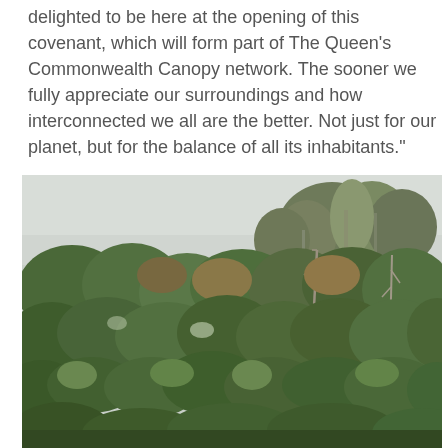delighted to be here at the opening of this covenant, which will form part of The Queen's Commonwealth Canopy network. The sooner we fully appreciate our surroundings and how interconnected we all are the better. Not just for our planet, but for the balance of all its inhabitants."
[Figure (photo): A dense forest canopy photographed from a distance, showing multiple layers of native trees with varying shades of green against a pale grey overcast sky. The foreground shows shrubby vegetation and the background has taller trees.]